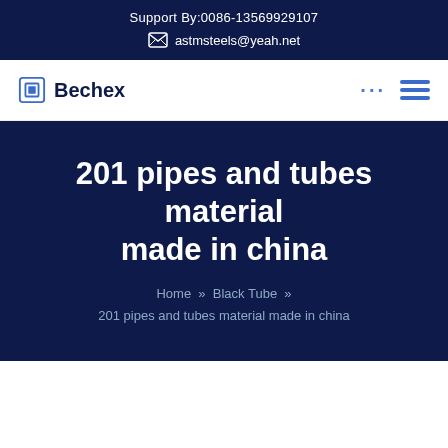Support By:0086-13569929107
astmsteels@yeah.net
Bechex
201 pipes and tubes material made in china
Home » Black Tube » 201 pipes and tubes material made in china